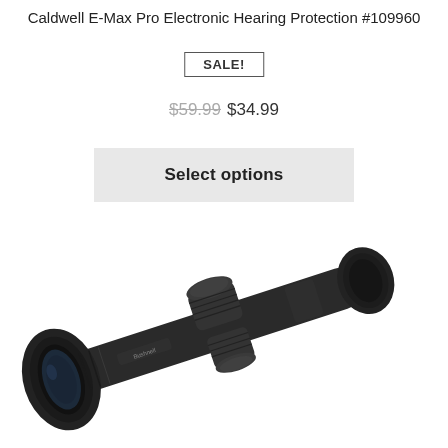Caldwell E-Max Pro Electronic Hearing Protection #109960
SALE!
$59.99  $34.99
Select options
[Figure (photo): Black rifle scope (Bushnell brand) shown at a diagonal angle, with objective lens on the left, two turret knobs visible in the center-right area, and the eyepiece extending off to the lower right. The scope is black and photographed against a white background.]